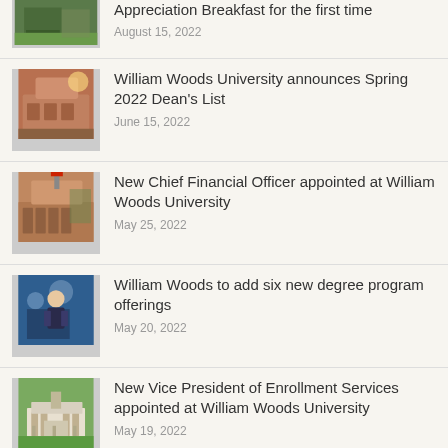Appreciation Breakfast for the first time
August 15, 2022
William Woods University announces Spring 2022 Dean's List
June 15, 2022
New Chief Financial Officer appointed at William Woods University
May 25, 2022
William Woods to add six new degree program offerings
May 20, 2022
New Vice President of Enrollment Services appointed at William Woods University
May 19, 2022